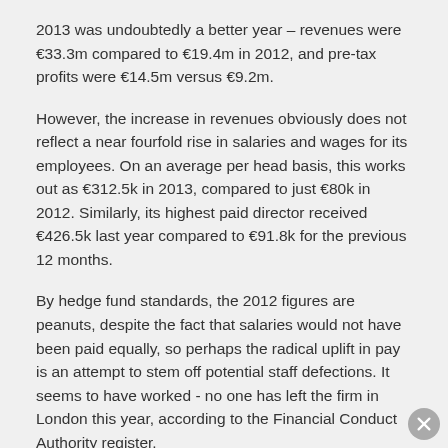2013 was undoubtedly a better year – revenues were €33.3m compared to €19.4m in 2012, and pre-tax profits were €14.5m versus €9.2m.
However, the increase in revenues obviously does not reflect a near fourfold rise in salaries and wages for its employees. On an average per head basis, this works out as €312.5k in 2013, compared to just €80k in 2012. Similarly, its highest paid director received €426.5k last year compared to €91.8k for the previous 12 months.
By hedge fund standards, the 2012 figures are peanuts, despite the fact that salaries would not have been paid equally, so perhaps the radical uplift in pay is an attempt to stem off potential staff defections. It seems to have worked - no one has left the firm in London this year, according to the Financial Conduct Authority register.
Boussard & Gavaudan now employs 17 people in fund management positions, compared to 19 in 2012 and has